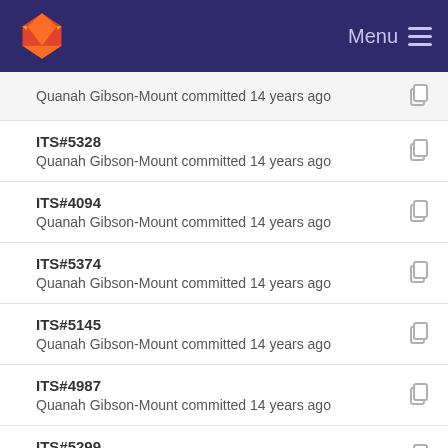Menu
ITS#5328
Quanah Gibson-Mount committed 14 years ago
ITS#4094
Quanah Gibson-Mount committed 14 years ago
ITS#5374
Quanah Gibson-Mount committed 14 years ago
ITS#5145
Quanah Gibson-Mount committed 14 years ago
ITS#4987
Quanah Gibson-Mount committed 14 years ago
ITS#5299
Quanah Gibson-Mount committed 14 years ago
ITS#5301
Quanah Gibson-Mount committed 14 years ago